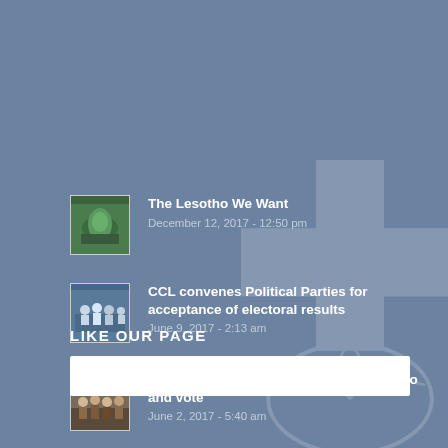The Lesotho We Want
December 12, 2017 - 12:50 pm
CCL convenes Political Parties for acceptance of electoral results
June 9, 2017 - 2:13 am
Let's build the Lesotho we want – Let's go and vote
June 2, 2017 - 5:40 am
LIKE OUR PAGE
[Figure (other): White Facebook like/page embed box]